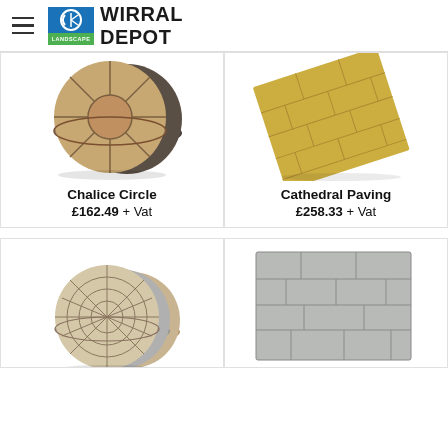CED Stone Landscape – Wirral Depot
[Figure (photo): Chalice Circle circular paving stones product photo, stacked circular stone sets in tan/brown tones]
Chalice Circle
£162.49 + Vat
[Figure (photo): Cathedral Paving rectangular paving slabs product photo, golden/yellow angled slab layout]
Cathedral Paving
£258.33 + Vat
[Figure (photo): Circular paving kit product, stacked circles in beige, grey and tan tones]
[Figure (photo): Rectangular grey paving slab set laid flat showing brick pattern]